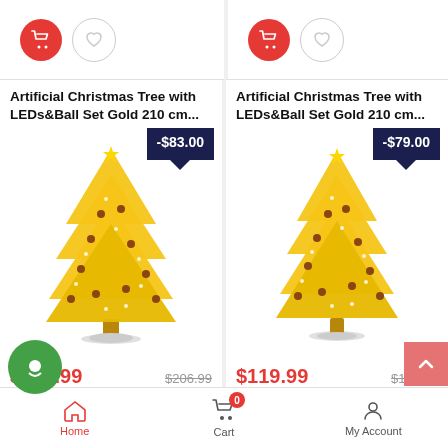[Figure (screenshot): E-commerce product listing page showing two artificial Christmas tree products with add-to-cart and favorite buttons, product images, discount badges, sale prices and original prices, bottom navigation bar with Home, Cart, My Account, a green chat bubble, and a back-to-top button.]
Artificial Christmas Tree with LEDs&Ball Set Gold 210 cm...
-$83.00
$123.99
$206.99
Artificial Christmas Tree with LEDs&Ball Set Gold 210 cm...
-$79.00
$119.99
$198.99
Home  Cart  My Account